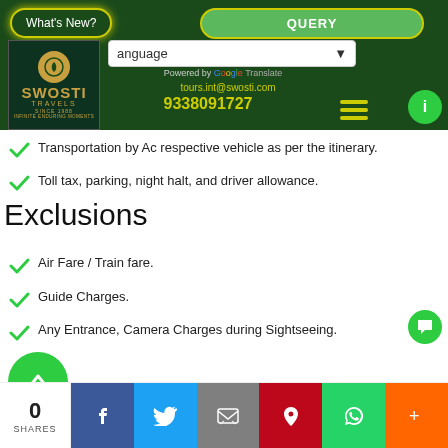[Figure (screenshot): Swosti Travels website header with navigation buttons (What's New?, QUERY), logo, language selector, Google Translate, email, phone number, and hamburger menu]
Transportation by Ac respective vehicle as per the itinerary.
Toll tax, parking, night halt, and driver allowance.
Exclusions
Air Fare / Train fare.
Guide Charges.
Any Entrance, Camera Charges during Sightseeing.
0 SHARES | Facebook | Twitter | Email | Pinterest | WhatsApp | More